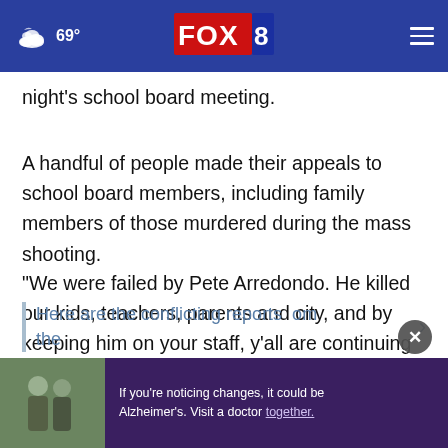FOX 8 | 69°
night's school board meeting.
A handful of people made their appeals to school board members, including family members of those murdered during the mass shooting.
“We were failed by Pete Arredondo. He killed our kids, teachers, parents and city, and by keeping him on your staff, y’all are continuing to fail us,” said Brett Cross, identifying himself as a father of a murdered student.
Here are the conflicting reports from the…
[Figure (photo): Advertisement banner with two people and Alzheimer's awareness text on purple background]